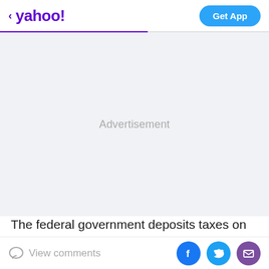< yahoo! | Get App
[Figure (other): Advertisement placeholder area with light gray background and 'Advertisement' text centered]
The federal government deposits taxes on gasoline and diesel fuel into the Highway Trust Fund, which it uses to
View comments | Facebook share | Twitter share | Email share